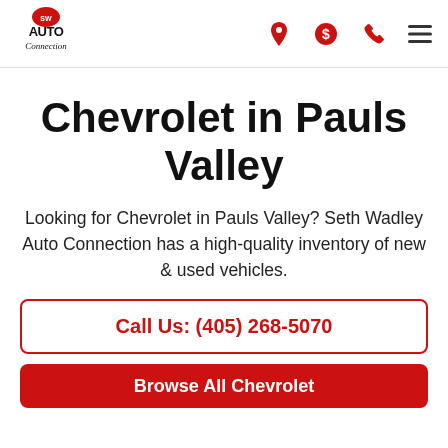[Figure (logo): SW Auto Connection logo with red circular badge and stylized text]
Chevrolet in Pauls Valley
Looking for Chevrolet in Pauls Valley? Seth Wadley Auto Connection has a high-quality inventory of new & used vehicles.
Call Us: (405) 268-5070
Browse All Chevrolet